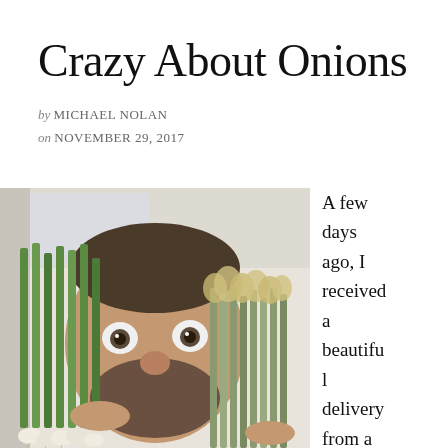Crazy About Onions
by MICHAEL NOLAN
on NOVEMBER 29, 2017
[Figure (photo): A bearded man with wide excited eyes holding two large bunches of fresh green onions/scallions with roots up near his face, indoors with a bright window behind him.]
A few days ago, I received a beautiful delivery from a local farm –